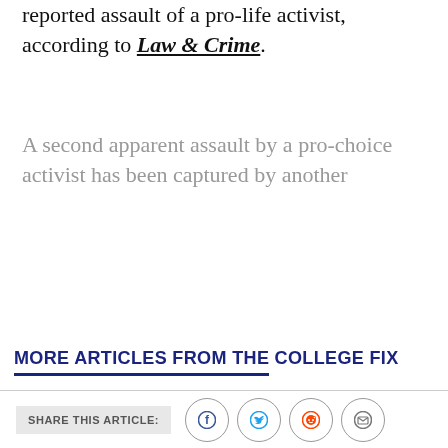reported assault of a pro-life activist, according to Law & Crime.
A second apparent assault by a pro-choice activist has been captured by another
READ MORE
MORE ARTICLES FROM THE COLLEGE FIX
[Figure (illustration): Black silhouette of a raised fist]
[Figure (photo): Man in white shirt with suspenders standing in front of bookshelves, wearing glasses]
SHARE THIS ARTICLE: